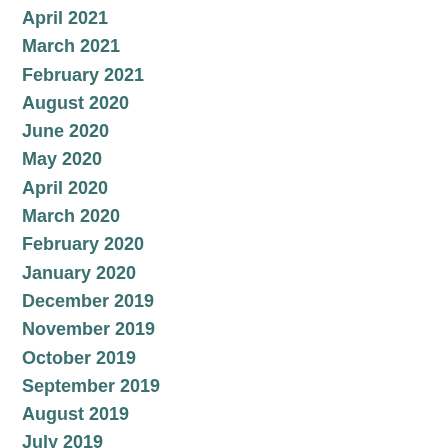April 2021
March 2021
February 2021
August 2020
June 2020
May 2020
April 2020
March 2020
February 2020
January 2020
December 2019
November 2019
October 2019
September 2019
August 2019
July 2019
June 2019
May 2019
April 2019